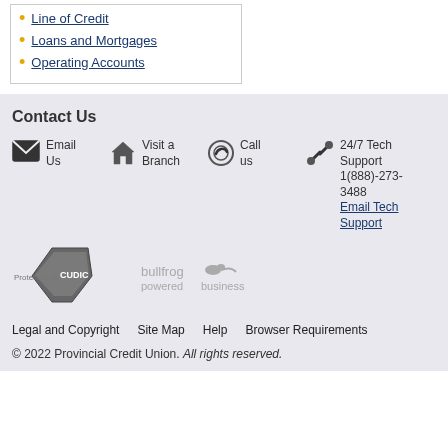Line of Credit
Loans and Mortgages
Operating Accounts
Contact Us
Email Us
Visit a Branch
Call us
24/7 Tech Support 1(888)-273-3488 Email Tech Support
[Figure (logo): Protected by CUDIC shield logo]
[Figure (logo): bullfrog powered business logo]
Legal and Copyright   Site Map   Help   Browser Requirements
© 2022 Provincial Credit Union. All rights reserved.